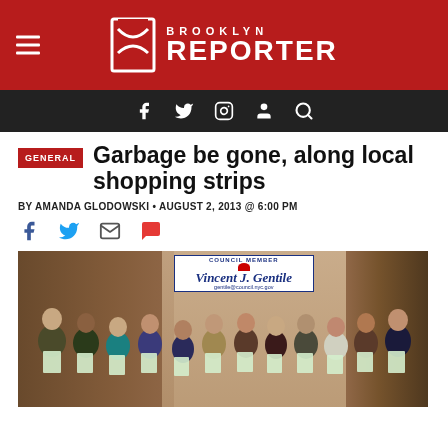Brooklyn Reporter
Garbage be gone, along local shopping strips
BY AMANDA GLODOWSKI • AUGUST 2, 2013 @ 6:00 PM
[Figure (photo): Group photo of people including a military officer and council member Vincent J. Gentile holding pamphlets/flyers in what appears to be a bookstore or library setting, with a banner reading 'Council Member Vincent J. Gentile' visible in the background.]